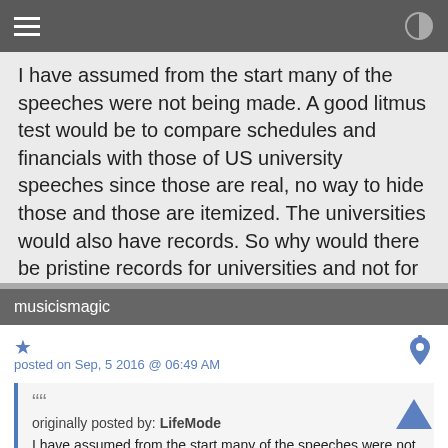I have assumed from the start many of the speeches were not being made. A good litmus test would be to compare schedules and financials with those of US university speeches since those are real, no way to hide those and those are itemized. The universities would also have records. So why would there be pristine records for universities and not for other countries. Not that hard to figure out what was going on.
musicismagic
posted on Sep, 5 2016 @ 06:49 AM
originally posted by: LifeMode
I have assumed from the start many of the speeches were not being made. A good litmus test would be to compare schedules and financials with those of US university speeches since those are real, no way to hide those and